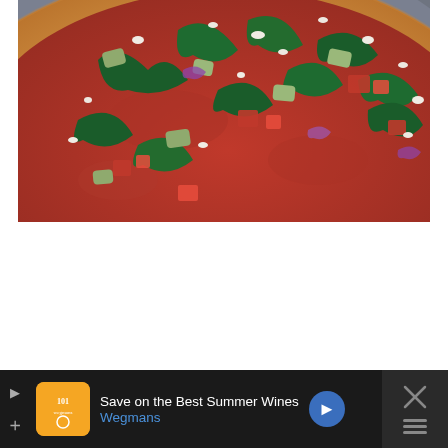[Figure (photo): Close-up photo of a pizza on a gray round metal pan, topped with tomato sauce, kale, artichoke hearts, diced tomatoes, red onion, and crumbled feta cheese. The crust is golden brown. Shot from above at a slight angle.]
Save on the Best Summer Wines Wegmans